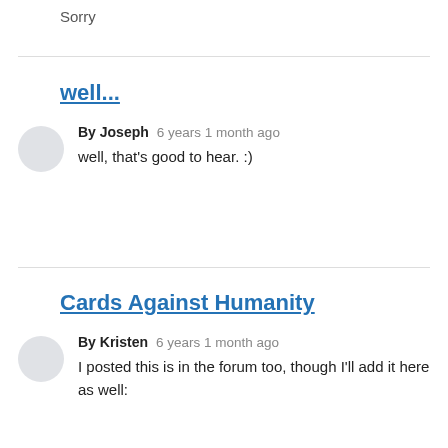Sorry
well...
By Joseph   6 years 1 month ago
well, that's good to hear. :)
Cards Against Humanity
By Kristen   6 years 1 month ago
I posted this is in the forum too, though I'll add it here as well: